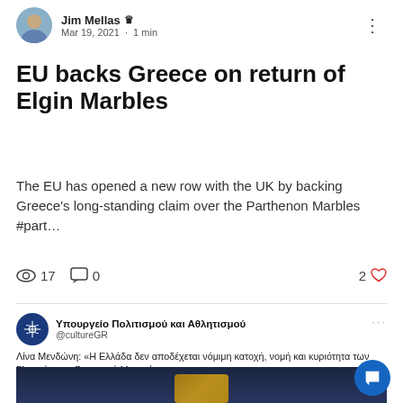Jim Mellas  Mar 19, 2021 · 1 min
EU backs Greece on return of Elgin Marbles
The EU has opened a new row with the UK by backing Greece's long-standing claim over the Parthenon Marbles #part…
17 views  0 comments  2 likes
Υπουργείο Πολιτισμού και Αθλητισμού @cultureGR — Λίνα Μενδώνη: «Η Ελλάδα δεν αποδέχεται νόμιμη κατοχή, νομή και κυριότητα των Γλυπτών στο Βρετανικό Μουσείο». Culture Minister Lina Mendoni: "For Greece, the @britishmuseum does not have legitimate ownership or possession of the Sculptures".  culture.gov.gr/el/information…
[Figure (photo): Dark background image strip at the bottom, partially showing a golden artifact]